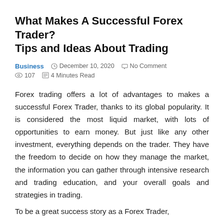What Makes A Successful Forex Trader? Tips and Ideas About Trading
Business  ⊙  December 10, 2020  ◯  No Comment  ⊙ 107  ⊡ 4 Minutes Read
Forex trading offers a lot of advantages to makes a successful Forex Trader, thanks to its global popularity. It is considered the most liquid market, with lots of opportunities to earn money. But just like any other investment, everything depends on the trader. They have the freedom to decide on how they manage the market, the information you can gather through intensive research and trading education, and your overall goals and strategies in trading.